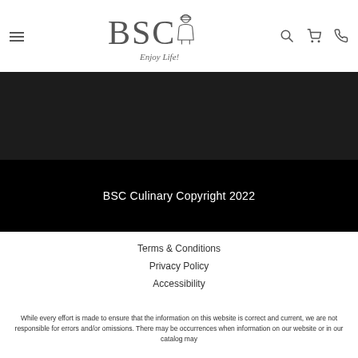BSC Culinary — navigation header with logo, menu, search, cart, phone icons
[Figure (logo): BSC Culinary logo with chef figure and 'Enjoy Life!' tagline]
BSC Culinary Copyright 2022
Terms & Conditions
Privacy Policy
Accessibility
While every effort is made to ensure that the information on this website is correct and current, we are not responsible for errors and/or omissions. There may be occurrences when information on our website or in our catalog may